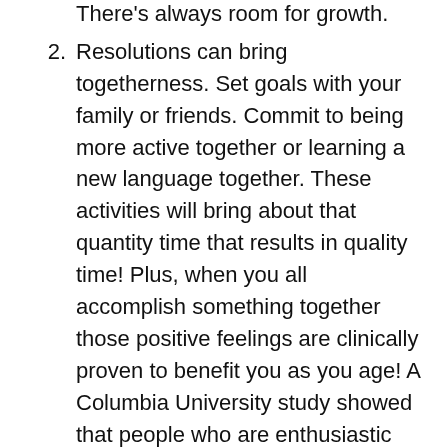There's always room for growth.
Resolutions can bring togetherness. Set goals with your family or friends. Commit to being more active together or learning a new language together. These activities will bring about that quantity time that results in quality time! Plus, when you all accomplish something together those positive feelings are clinically proven to benefit you as you age! A Columbia University study showed that people who are enthusiastic and content with their lives are less likely to develop heart disease.
Resolutions can be helpful. Set resolutions to make your home safer. Take on the task of pre-planning your final arrangements. These